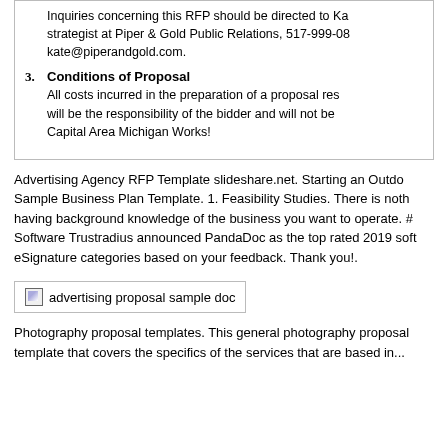Inquiries concerning this RFP should be directed to Ka... strategist at Piper & Gold Public Relations, 517-999-08... kate@piperandgold.com.
3. Conditions of Proposal
All costs incurred in the preparation of a proposal res... will be the responsibility of the bidder and will not be... Capital Area Michigan Works!
Advertising Agency RFP Template slideshare.net. Starting an Outdo... Sample Business Plan Template. 1. Feasibility Studies. There is noth... having background knowledge of the business you want to operate. #... Software Trustradius announced PandaDoc as the top rated 2019 sof... eSignature categories based on your feedback. Thank you!.
[Figure (other): Broken image placeholder with alt text: advertising proposal sample doc]
Photography proposal templates. This general photography proposal... template that covers the specifics of the services that are based in...